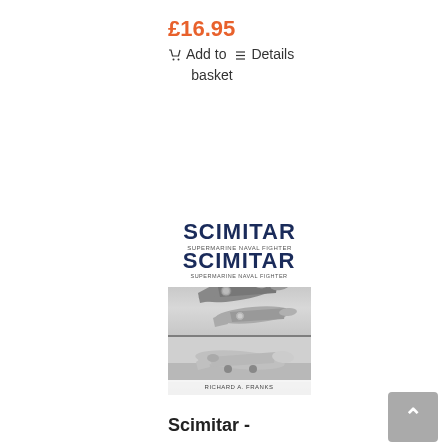£16.95
🛒 Add to  ≡ Details basket
[Figure (photo): Book cover of 'SCIMITAR' showing black and white photographs of Scimitar naval fighter jets in flight and on ground, with subtitle text and author name Richard A. Franks at the bottom]
Scimitar -